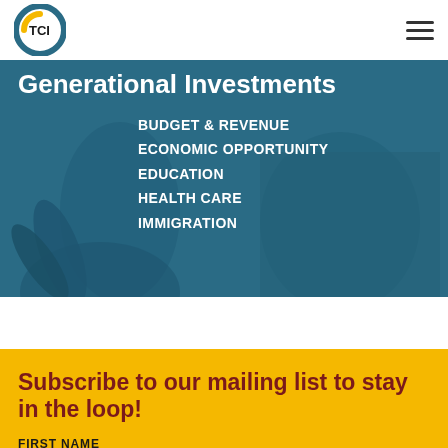TCI
Generational Investments
BUDGET & REVENUE
ECONOMIC OPPORTUNITY
EDUCATION
HEALTH CARE
IMMIGRATION
Subscribe to our mailing list to stay in the loop!
FIRST NAME